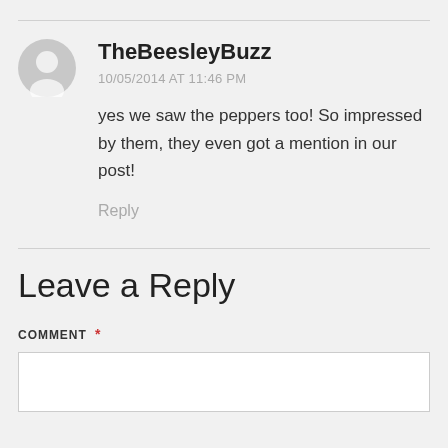TheBeesleyBuzz
10/05/2014 AT 11:46 PM
yes we saw the peppers too! So impressed by them, they even got a mention in our post!
Reply
Leave a Reply
COMMENT *